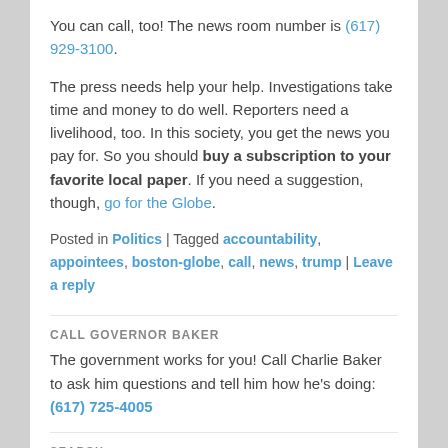You can call, too! The news room number is (617) 929-3100.
The press needs help your help. Investigations take time and money to do well. Reporters need a livelihood, too. In this society, you get the news you pay for. So you should buy a subscription to your favorite local paper. If you need a suggestion, though, go for the Globe.
Posted in Politics | Tagged accountability, appointees, boston-globe, call, news, trump | Leave a reply
CALL GOVERNOR BAKER
The government works for you! Call Charlie Baker to ask him questions and tell him how he's doing: (617) 725-4005
SEARCH